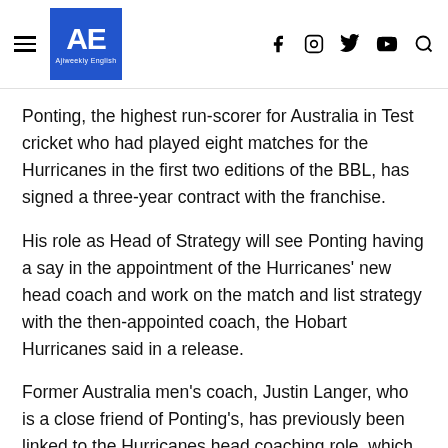AE Ajiweekly English
Ponting, the highest run-scorer for Australia in Test cricket who had played eight matches for the Hurricanes in the first two editions of the BBL, has signed a three-year contract with the franchise.
His role as Head of Strategy will see Ponting having a say in the appointment of the Hurricanes' new head coach and work on the match and list strategy with the then-appointed coach, the Hobart Hurricanes said in a release.
Former Australia men's coach, Justin Langer, who is a close friend of Ponting's, has previously been linked to the Hurricanes head coaching role, which has been vacant since Adam Griffith resigned at the end of BBL-11.
The 47-year-old Ponting has also previously held interim and specialist coaching roles with the Australian men's cricket